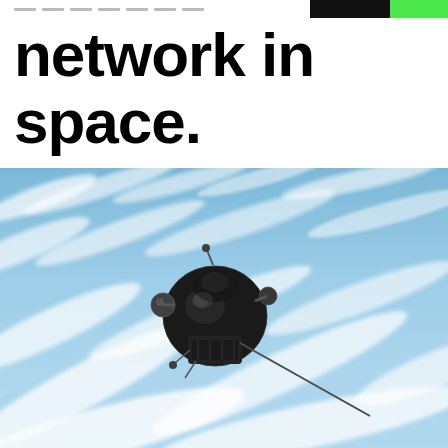network in space.
[Figure (photo): A spacecraft (Soyuz-type capsule) orbiting in space above Earth, with blue sky, white clouds, and Earth's surface visible below. The spacecraft is dark/black with antennas and a long probe extending to the lower right.]